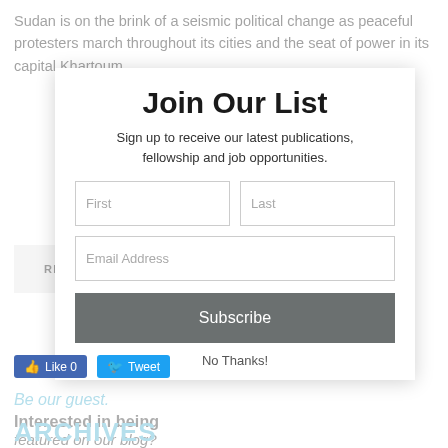Sudan is on the brink of a seismic political change as peaceful protesters march throughout its cities and the seat of power in its capital Khartoum.
READ MORE
[Figure (screenshot): Join Our List modal popup with fields for First, Last, Email Address, Subscribe button, and No Thanks link. Social Like and Tweet buttons visible beneath.]
Be our guest.
Interested in being featured on our blog?
We'd love to hear from you.
Find out more.
ARCHIVES